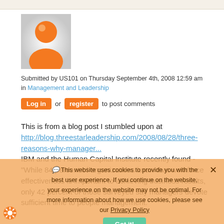[Figure (illustration): Generic orange user avatar icon on grey gradient background]
Submitted by US101 on Thursday September 4th, 2008 12:59 am
in Management and Leadership
Log in or register to post comments
This is from a blog post I stumbled upon at http://blog.threestarleadership.com/2008/08/28/three-reasons-why-manager... IBM and the Human Capital Institute recently found - "While 84 percent of organizations know that workforce effectiveness is important to achieving business results, only 42 percent of those surveyed say managers devote sufficient time to people management."